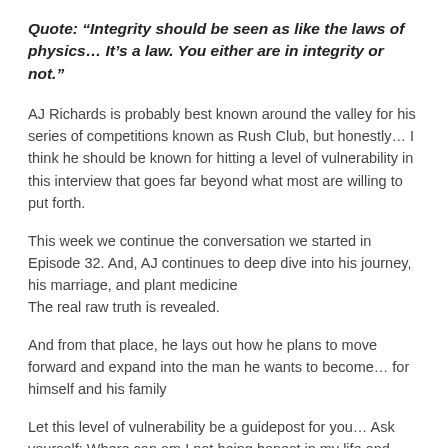Quote: “Integrity should be seen as like the laws of physics… It’s a law. You either are in integrity or not.”
AJ Richards is probably best known around the valley for his series of competitions known as Rush Club, but honestly… I think he should be known for hitting a level of vulnerability in this interview that goes far beyond what most are willing to put forth.
This week we continue the conversation we started in Episode 32. And, AJ continues to deep dive into his journey, his marriage, and plant medicine The real raw truth is revealed.
And from that place, he lays out how he plans to move forward and expand into the man he wants to become… for himself and his family
Let this level of vulnerability be a guidepost for you… Ask yourself: Where can am I not being honest in my life and what can I do to get back into integrity.